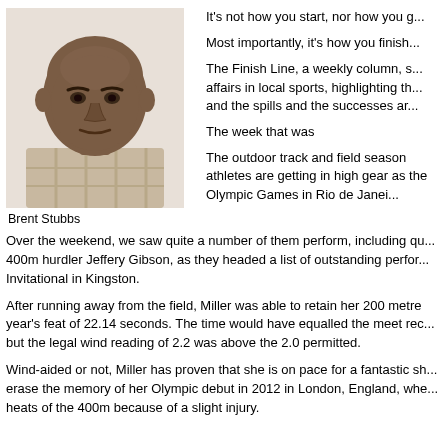[Figure (photo): Headshot photo of Brent Stubbs, a bald Black man wearing a plaid shirt]
Brent Stubbs
It's not how you start, nor how you g...
Most importantly, it's how you finish...
The Finish Line, a weekly column, s... affairs in local sports, highlighting th... and the spills and the successes ar...
The week that was
The outdoor track and field season athletes are getting in high gear as the Olympic Games in Rio de Janei...
Over the weekend, we saw quite a number of them perform, including qu... 400m hurdler Jeffery Gibson, as they headed a list of outstanding perfor... Invitational in Kingston.
After running away from the field, Miller was able to retain her 200 metre year's feat of 22.14 seconds. The time would have equalled the meet rec... but the legal wind reading of 2.2 was above the 2.0 permitted.
Wind-aided or not, Miller has proven that she is on pace for a fantastic sh... erase the memory of her Olympic debut in 2012 in London, England, whe... heats of the 400m because of a slight injury.